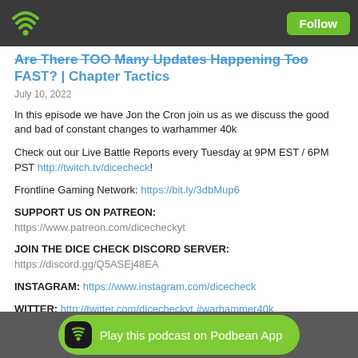Follow
Are There TOO Many Updates Happening Too FAST? | Chapter Tactics
July 10, 2022
In this episode we have Jon the Cron join us as we discuss the good and bad of constant changes to warhammer 40k
Check out our Live Battle Reports every Tuesday at 9PM EST / 6PM PST http://twitch.tv/dicecheck!
Frontline Gaming Network: https://bit.ly/3dbMup6
SUPPORT US ON PATREON:
https://www.patreon.com/dicecheckyt
JOIN THE DICE CHECK DISCORD SERVER:
https://discord.gg/Q5ASEj48EA
INSTAGRAM: https://www.instagram.com/dicecheck
WITTER: http://twitter.com/dicecheckyt #warhammer40k
Play this podcast on Podbean App